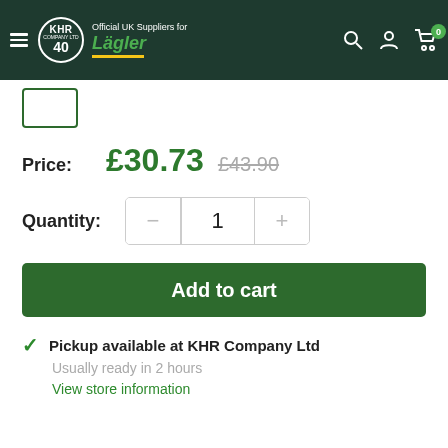KHR Company Ltd 40 — Official UK Suppliers for Lägler — Navigation: Search, Account, Cart (0)
[Figure (screenshot): Product thumbnail image box with green border]
Price: £30.73  £43.90
Quantity: − 1 +
Add to cart
✓ Pickup available at KHR Company Ltd
Usually ready in 2 hours
View store information